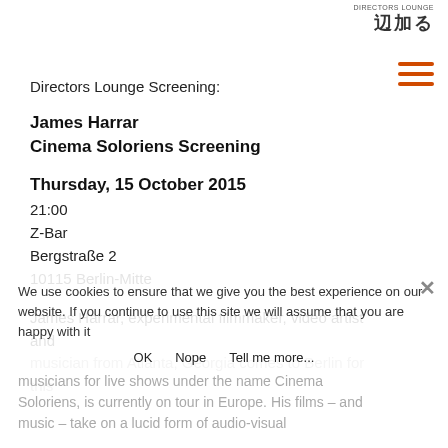DIRECTORS LOUNGE 25th
[Figure (other): Hamburger menu icon with three orange horizontal lines]
Directors Lounge Screening:
James Harrar
Cinema Soloriens Screening
Thursday, 15 October 2015
21:00
Z-Bar
Bergstraße 2
10115 Berlin-Mitte
James Harrar, experimental filmmaker, video artist and musician from Atlanta, Georgia comes to Berlin for this screening. The collective of artists, film-makers and musicians for live shows under the name Cinema Soloriens, is currently on tour in Europe. His films – and music – take on a lucid form of audio-visual
We use cookies to ensure that we give you the best experience on our website. If you continue to use this site we will assume that you are happy with it